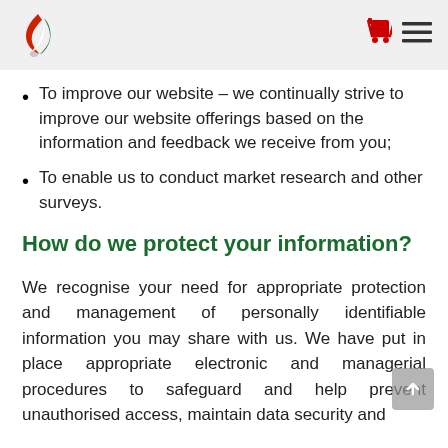[Logo and navigation icons]
To improve our website – we continually strive to improve our website offerings based on the information and feedback we receive from you;
To enable us to conduct market research and other surveys.
How do we protect your information?
We recognise your need for appropriate protection and management of personally identifiable information you may share with us. We have put in place appropriate electronic and managerial procedures to safeguard and help prevent unauthorised access, maintain data security and